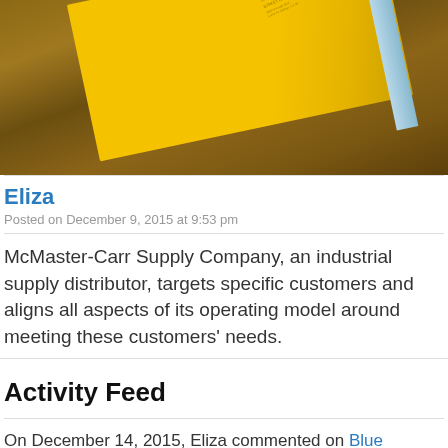[Figure (photo): A yellow book with text on cover and a light blue spine, resting on a wooden table surface, photographed at an angle.]
Eliza
Posted on December 9, 2015 at 9:53 pm
McMaster-Carr Supply Company, an industrial supply distributor, targets specific customers and aligns all aspects of its operating model around meeting these customers' needs.
Activity Feed
On December 14, 2015, Eliza commented on Blue